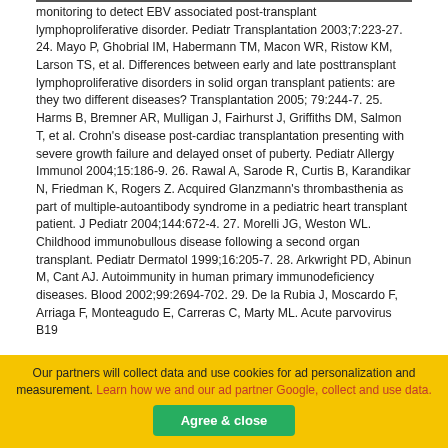monitoring to detect EBV associated post-transplant lymphoproliferative disorder. Pediatr Transplantation 2003;7:223-27. 24. Mayo P, Ghobrial IM, Habermann TM, Macon WR, Ristow KM, Larson TS, et al. Differences between early and late posttransplant lymphoproliferative disorders in solid organ transplant patients: are they two different diseases? Transplantation 2005; 79:244-7. 25. Harms B, Bremner AR, Mulligan J, Fairhurst J, Griffiths DM, Salmon T, et al. Crohn's disease post-cardiac transplantation presenting with severe growth failure and delayed onset of puberty. Pediatr Allergy Immunol 2004;15:186-9. 26. Rawal A, Sarode R, Curtis B, Karandikar N, Friedman K, Rogers Z. Acquired Glanzmann's thrombasthenia as part of multiple-autoantibody syndrome in a pediatric heart transplant patient. J Pediatr 2004;144:672-4. 27. Morelli JG, Weston WL. Childhood immunobullous disease following a second organ transplant. Pediatr Dermatol 1999;16:205-7. 28. Arkwright PD, Abinun M, Cant AJ. Autoimmunity in human primary immunodeficiency diseases. Blood 2002;99:2694-702. 29. De la Rubia J, Moscardo F, Arriaga F, Monteagudo E, Carreras C, Marty ML. Acute parvovirus B19
Our partners will collect data and use cookies for ad personalization and measurement. Learn how we and our ad partner Google, collect and use data.
Agree & close